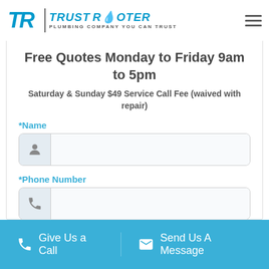[Figure (logo): Trust Rooter Plumbing Company logo with TR monogram and tagline 'Plumbing Company You Can Trust']
Free Quotes Monday to Friday 9am to 5pm
Saturday & Sunday $49 Service Call Fee (waived with repair)
*Name
*Phone Number
Give Us a Call   Send Us A Message